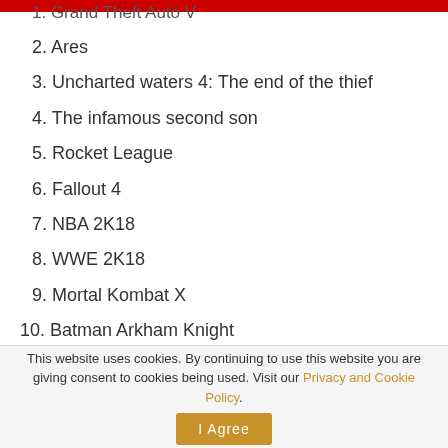1. Grand Theft Auto V
2. Ares
3. Uncharted waters 4: The end of the thief
4. The infamous second son
5. Rocket League
6. Fallout 4
7. NBA 2K18
8. WWE 2K18
9. Mortal Kombat X
10. Batman Arkham Knight
11. Mafia 3
This website uses cookies. By continuing to use this website you are giving consent to cookies being used. Visit our Privacy and Cookie Policy.